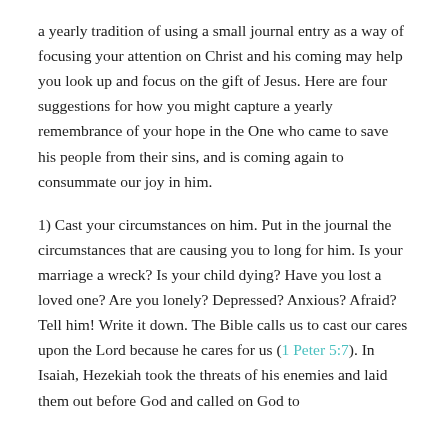a yearly tradition of using a small journal entry as a way of focusing your attention on Christ and his coming may help you look up and focus on the gift of Jesus. Here are four suggestions for how you might capture a yearly remembrance of your hope in the One who came to save his people from their sins, and is coming again to consummate our joy in him.
1) Cast your circumstances on him. Put in the journal the circumstances that are causing you to long for him. Is your marriage a wreck? Is your child dying? Have you lost a loved one? Are you lonely? Depressed? Anxious? Afraid? Tell him! Write it down. The Bible calls us to cast our cares upon the Lord because he cares for us (1 Peter 5:7). In Isaiah, Hezekiah took the threats of his enemies and laid them out before God and called on God to